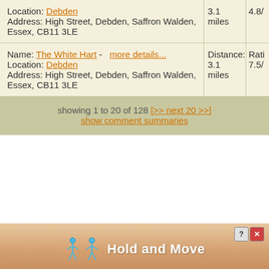| Name/Location/Address | Distance | Rating |
| --- | --- | --- |
| Location: Debden
Address: High Street, Debden, Saffron Walden, Essex, CB11 3LE | 3.1 miles | 4.8/ |
| Name: The White Hart - more details...
Location: Debden
Address: High Street, Debden, Saffron Walden, Essex, CB11 3LE | Distance: 3.1 miles | 7.5/ |
showing 1 to 20 of 128 [>> next 20 >>]
show comment summaries
[Figure (other): Advertisement banner showing two stick figures and text 'Hold and Move' with close/help buttons]